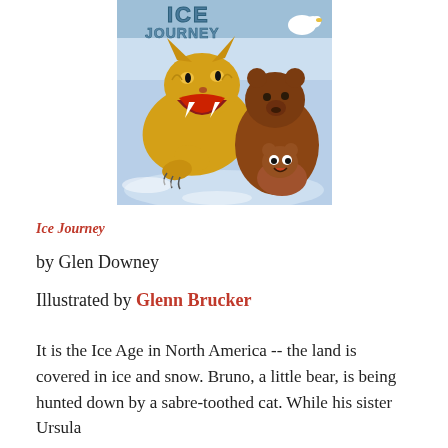[Figure (illustration): Book cover illustration for 'Ice Journey' showing a saber-toothed cat with open mouth roaring, attacking a small brown bear cub, with another bear in the background. The title 'ICE JOURNEY' is visible at the top of the cover in stylized lettering against an icy background.]
Ice Journey
by Glen Downey
Illustrated by Glenn Brucker
It is the Ice Age in North America -- the land is covered in ice and snow. Bruno, a little bear, is being hunted down by a sabre-toothed cat. While his sister Ursula